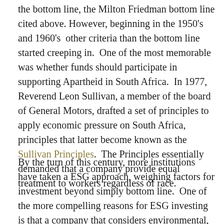the bottom line, the Milton Friedman bottom line cited above. However, beginning in the 1950's and 1960's other criteria than the bottom line started creeping in. One of the most memorable was whether funds should participate in supporting Apartheid in South Africa. In 1977, Reverend Leon Sullivan, a member of the board of General Motors, drafted a set of principles to apply economic pressure on South Africa, principles that latter become known as the Sullivan Principles. The Principles essentially demanded that a company provide equal treatment to workers regardless of race.
By the turn of this century, more institutions have taken a ESG approach, weighing factors for investment beyond simply bottom line. One of the more compelling reasons for ESG investing is that a company that considers environmental, social, and governance factors in its